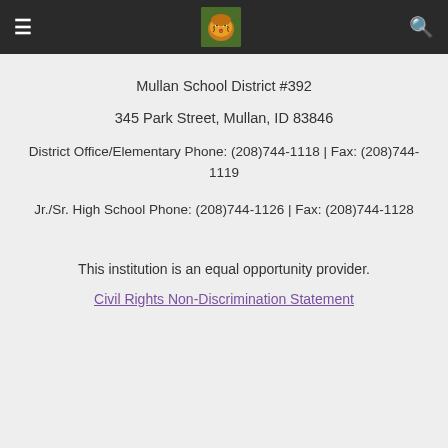Mullan School District navigation bar with hamburger menu, tiger logo, and search icon
Mullan School District #392
345 Park Street, Mullan, ID 83846
District Office/Elementary Phone: (208)744-1118 | Fax: (208)744-1119
Jr./Sr. High School Phone: (208)744-1126 | Fax: (208)744-1128
This institution is an equal opportunity provider.
Civil Rights Non-Discrimination Statement